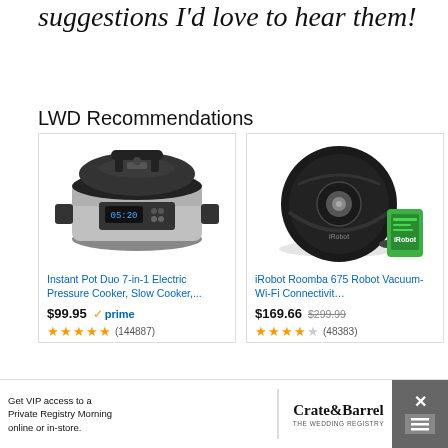suggestions I'd love to hear them!
LWD Recommendations
[Figure (photo): Instant Pot Duo 7-in-1 Electric Pressure Cooker product photo, stainless steel with black lid and digital display]
Instant Pot Duo 7-in-1 Electric Pressure Cooker, Slow Cooker,...
$99.95 ✓prime (144887) 4.7 stars
[Figure (photo): iRobot Roomba 675 Robot Vacuum product photo, circular black robot vacuum with green smartphone]
iRobot Roomba 675 Robot Vacuum-Wi-Fi Connectivit...
$169.66 $299.99 (48383) 4.4 stars
Get VIP access to a Private Registry Morning online or in-store. Crate&Barrel THE WEDDING REGISTRY